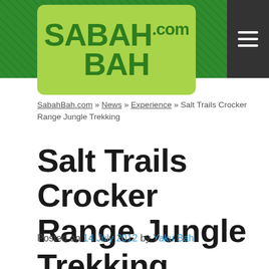[Figure (logo): SabahBah.com logo on green header bar with hamburger menu icon]
SabahBah.com » News » Experience » Salt Trails Crocker Range Jungle Trekking
Salt Trails Crocker Range Jungle Trekking
Posted on 14 July 2012 by Yaku Bah